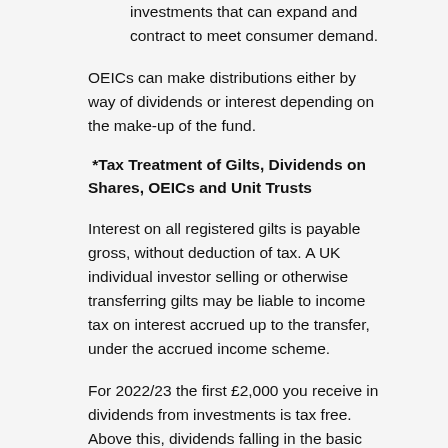and that they are open-ended investments that can expand and contract to meet consumer demand.
OEICs can make distributions either by way of dividends or interest depending on the make-up of the fund.
*Tax Treatment of Gilts, Dividends on Shares, OEICs and Unit Trusts
Interest on all registered gilts is payable gross, without deduction of tax. A UK individual investor selling or otherwise transferring gilts may be liable to income tax on interest accrued up to the transfer, under the accrued income scheme.
For 2022/23 the first £2,000 you receive in dividends from investments is tax free. Above this, dividends falling in the basic rate tax band are taxed at 8.75%, in the higher rate tax band 33.75%, and in the additional rate tax band